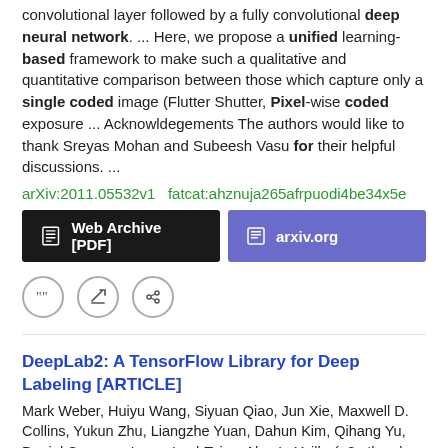convolutional layer followed by a fully convolutional deep neural network. ... Here, we propose a unified learning-based framework to make such a qualitative and quantitative comparison between those which capture only a single coded image (Flutter Shutter, Pixel-wise coded exposure ... Acknowldegements The authors would like to thank Sreyas Mohan and Subeesh Vasu for their helpful discussions. ...
arXiv:2011.05532v1  fatcat:ahznuja265afrpuodi4be34x5e
Web Archive [PDF]   arxiv.org
DeepLab2: A TensorFlow Library for Deep Labeling [ARTICLE]
Mark Weber, Huiyu Wang, Siyuan Qiao, Jun Xie, Maxwell D. Collins, Yukun Zhu, Liangzhe Yuan, Dahun Kim, Qihang Yu, Daniel Cremers, Laura Leal-Taixe, Alan L. Yuille (+3 others)
2021 arXiv PRE-PRINT
DeepLab2 is a TensorFlow library for deep labeling, aiming to provide a state-of-the-art and easy-to-use TensorFlow codebase for general dense pixel prediction problems in computer vision. ... To